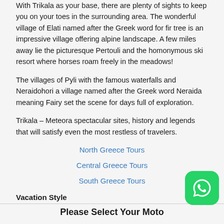With Trikala as your base, there are plenty of sights to keep you on your toes in the surrounding area. The wonderful village of Elati named after the Greek word for fir tree is an impressive village offering alpine landscape. A few miles away lie the picturesque Pertouli and the homonymous ski resort where horses roam freely in the meadows!
The villages of Pyli with the famous waterfalls and Neraidohori a village named after the Greek word Neraida meaning Fairy set the scene for days full of exploration.
Trikala – Meteora spectacular sites, history and legends that will satisfy even the most restless of travelers.
North Greece Tours
Central Greece Tours
South Greece Tours
Vacation Style
Please Select Your Moto
[Figure (logo): WhatsApp chat button icon — green rounded square with white WhatsApp phone handset logo]